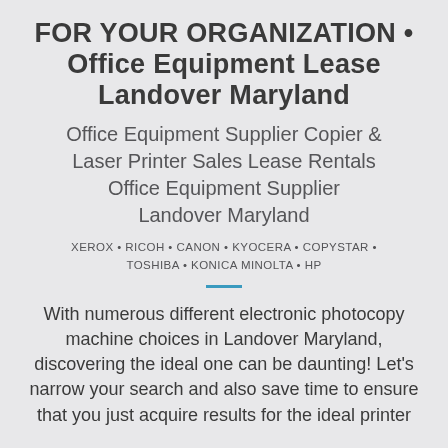FOR YOUR ORGANIZATION • Office Equipment Lease Landover Maryland
Office Equipment Supplier Copier & Laser Printer Sales Lease Rentals Office Equipment Supplier Landover Maryland
XEROX • RICOH • CANON • KYOCERA • COPYSTAR • TOSHIBA • KONICA MINOLTA • HP
With numerous different electronic photocopy machine choices in Landover Maryland, discovering the ideal one can be daunting! Let's narrow your search and also save time to ensure that you just acquire results for the ideal printer